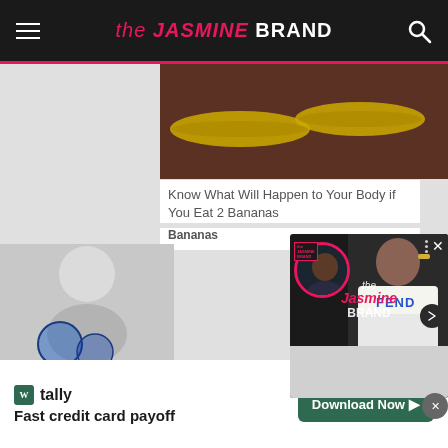the JASMINE BRAND
[Figure (photo): Banana image on wooden surface]
Know What Will Happen to Your Body if You Eat 2 Bananas
Bananas
[Figure (screenshot): Video popup overlay showing The Jasmine Brand watermark over images of two people, one in a circular frame on the left and a woman in a Fendi shirt on the right. Navigation arrow and close button visible.]
[Figure (photo): Background image on left side with partial view]
[Figure (logo): Tally app advertisement - Fast credit card payoff with Download Now button]